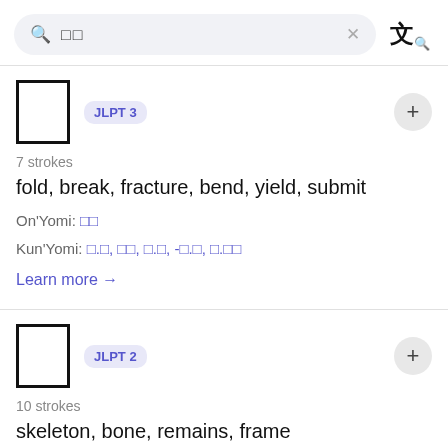[Figure (screenshot): Search bar with Japanese characters and translate icon]
JLPT 3
7 strokes
fold, break, fracture, bend, yield, submit
On'Yomi: [Japanese chars]
Kun'Yomi: [Japanese chars]
Learn more →
JLPT 2
10 strokes
skeleton, bone, remains, frame